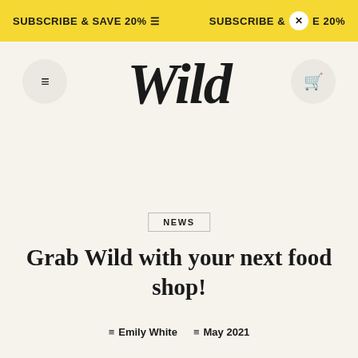SUBSCRIBE & SAVE 20%  SUBSCRIBE & SAVE 20%
[Figure (logo): Wild brand logo in large serif bold font]
NEWS
Grab Wild with your next food shop!
Emily White  May 2021